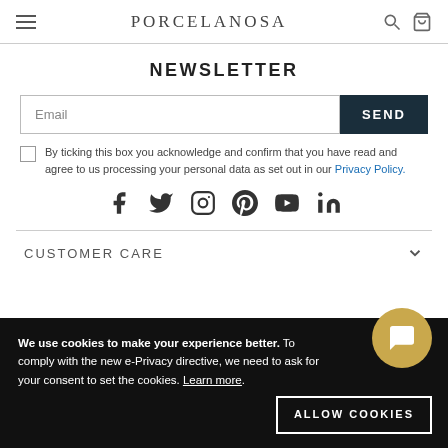PORCELANOSA
NEWSLETTER
Email | SEND
By ticking this box you acknowledge and confirm that you have read and agree to us processing your personal data as set out in our Privacy Policy.
[Figure (infographic): Social media icons: Facebook, Twitter, Instagram, Pinterest, YouTube, LinkedIn]
CUSTOMER CARE
We use cookies to make your experience better. To comply with the new e-Privacy directive, we need to ask for your consent to set the cookies. Learn more.
ALLOW COOKIES